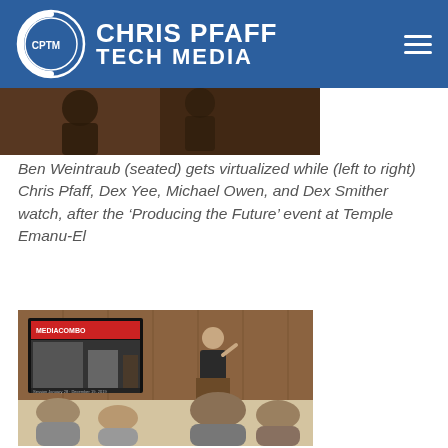Chris Pfaff Tech Media
[Figure (photo): Partial photo at top, cropped, showing people in a dimly lit setting]
Ben Weintraub (seated) gets virtualized while (left to right) Chris Pfaff, Dex Yee, Michael Owen, and Dex Smither watch, after the ‘Producing the Future’ event at Temple Emanu-El
[Figure (photo): A speaker stands at a podium in a wood-paneled room presenting to an audience, with a large screen showing MEDIACOMBO content behind him]